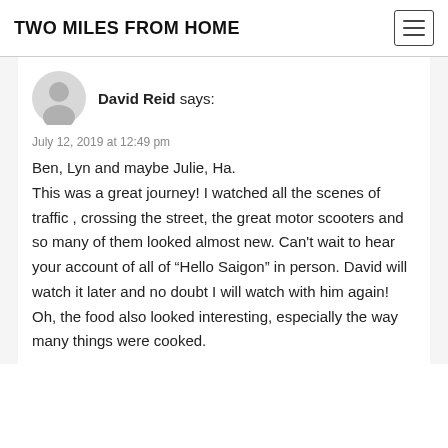TWO MILES FROM HOME
David Reid says:
July 12, 2019 at 12:49 pm
Ben, Lyn and maybe Julie, Ha.
This was a great journey! I watched all the scenes of traffic , crossing the street, the great motor scooters and so many of them looked almost new. Can't wait to hear your account of all of “Hello Saigon” in person. David will watch it later and no doubt I will watch with him again! Oh, the food also looked interesting, especially the way many things were cooked.